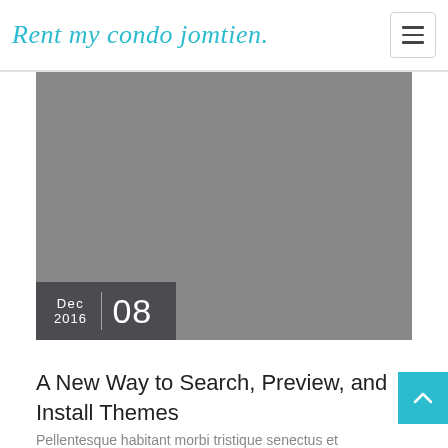Rent my condo jomtien.
[Figure (photo): Large gray placeholder image for a blog post]
Dec 2016  08
A New Way to Search, Preview, and Install Themes
Pellentesque habitant morbi tristique senectus et